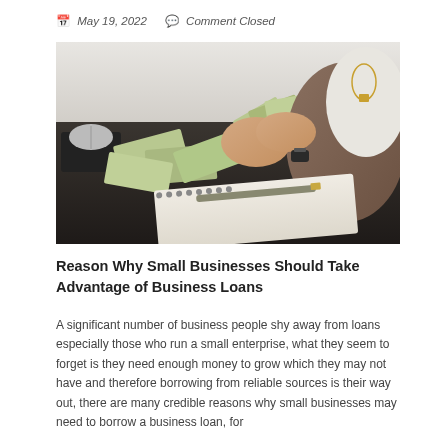May 19, 2022   Comment Closed
[Figure (photo): Person counting US dollar bills over a dark desk with a spiral notebook, pen, and black mouse pad visible]
Reason Why Small Businesses Should Take Advantage of Business Loans
A significant number of business people shy away from loans especially those who run a small enterprise, what they seem to forget is they need enough money to grow which they may not have and therefore borrowing from reliable sources is their way out, there are many credible reasons why small businesses may need to borrow a business loan, for